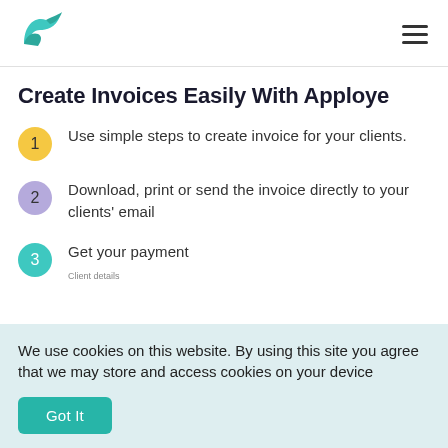[Figure (logo): Apploye logo — teal/green wave-bird shape]
Create Invoices Easily With Apploye
Use simple steps to create invoice for your clients.
Download, print or send the invoice directly to your clients' email
Get your payment
Client details
We use cookies on this website. By using this site you agree that we may store and access cookies on your device